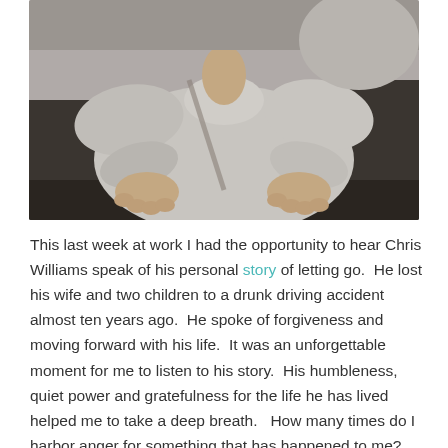[Figure (photo): Close-up photo of a child or person in a grey sweatshirt, hands resting on lap, seated, viewed from front/above. The image is cropped showing torso and hands.]
This last week at work I had the opportunity to hear Chris Williams speak of his personal story of letting go.  He lost his wife and two children to a drunk driving accident almost ten years ago.  He spoke of forgiveness and moving forward with his life.  It was an unforgettable moment for me to listen to his story.  His humbleness, quiet power and gratefulness for the life he has lived helped me to take a deep breath.   How many times do I harbor anger for something that has happened to me?  How many times have I carried this frustration throughout my days, letting it inadvertently